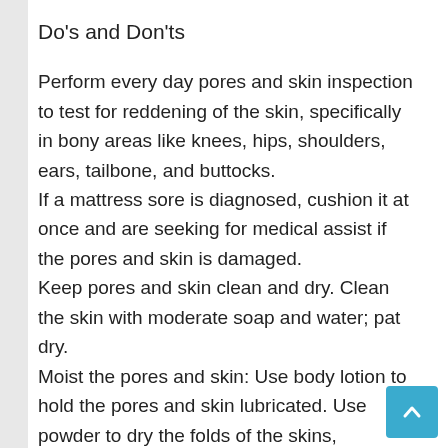Do's and Don'ts
Perform every day pores and skin inspection to test for reddening of the skin, specifically in bony areas like knees, hips, shoulders, ears, tailbone, and buttocks.
If a mattress sore is diagnosed, cushion it at once and are seeking for medical assist if the pores and skin is damaged.
Keep pores and skin clean and dry. Clean the skin with moderate soap and water; pat dry.
Moist the pores and skin: Use body lotion to hold the pores and skin lubricated. Use powder to dry the folds of the skins, consisting of armpits and underneath the breast.
Bedding and linen must be changed each day.